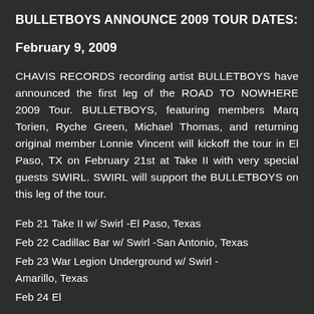BULLETBOYS ANNOUNCE 2009 TOUR DATES:
February 9, 2009
CHAVIS RECORDS recording artist BULLETBOYS have announced the first leg of the ROAD TO NOWHERE 2009 Tour. BULLETBOYS, featuring members Marq Torien, Ryche Green, Michael Thomas, and returning original member Lonnie Vincent will kickoff the tour in El Paso, TX on February 21st at Take II with very special guests SWIRL. SWIRL will support the BULLETBOYS on this leg of the tour.
Feb 21 Take II w/ Swirl -El Paso, Texas
Feb 22 Cadillac Bar w/ Swirl -San Antonio, Texas
Feb 23 War Legion Underground w/ Swirl - Amarillo, Texas
Feb 24 [continues below, cut off]